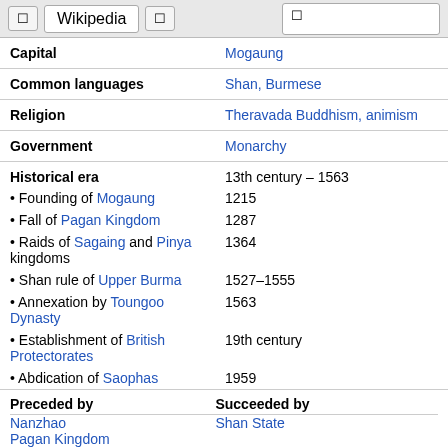Wikipedia
| Capital | Mogaung |
| Common languages | Shan, Burmese |
| Religion | Theravada Buddhism, animism |
| Government | Monarchy |
| Historical era | 13th century – 1563 |
| • Founding of Mogaung | 1215 |
| • Fall of Pagan Kingdom | 1287 |
| • Raids of Sagaing and Pinya kingdoms | 1364 |
| • Shan rule of Upper Burma | 1527–1555 |
| • Annexation by Toungoo Dynasty | 1563 |
| • Establishment of British Protectorates | 19th century |
| • Abdication of Saophas | 1959 |
| Preceded by / Succeeded by | Nanzhao / Shan State / Pagan Kingdom |